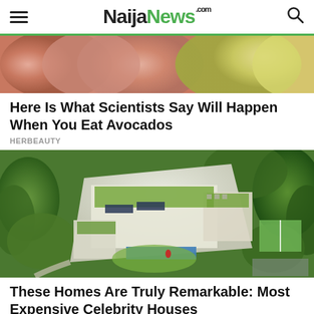NaijaNews.com
[Figure (photo): Close-up photo of avocados and onions]
Here Is What Scientists Say Will Happen When You Eat Avocados
HERBEAUTY
[Figure (photo): Aerial view of a large luxury estate with green rooftops, swimming pool, and surrounding trees]
These Homes Are Truly Remarkable: Most Expensive Celebrity Houses